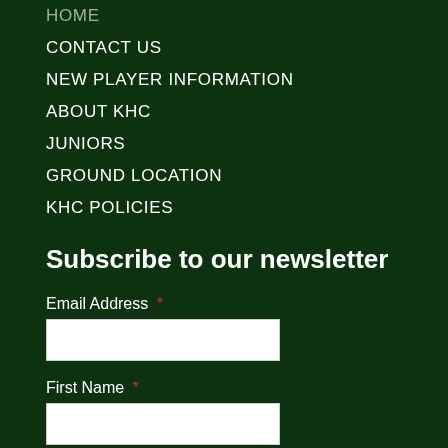HOME
CONTACT US
NEW PLAYER INFORMATION
ABOUT KHC
JUNIORS
GROUND LOCATION
KHC POLICIES
Subscribe to our newsletter
Email Address *
First Name *
Last Name *